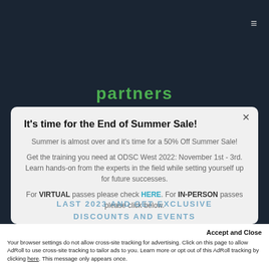partners
It's time for the End of Summer Sale!
Summer is almost over and it's time for a 50% Off Summer Sale!
Get the training you need at ODSC West 2022: November 1st - 3rd. Learn hands-on from the experts in the field while setting yourself up for future successes.
For VIRTUAL passes please check HERE. For IN-PERSON passes please click below.
LAST 2023 AND GET EXCLUSIVE DISCOUNTS AND EVENTS
Accept and Close
Your browser settings do not allow cross-site tracking for advertising. Click on this page to allow AdRoll to use cross-site tracking to tailor ads to you. Learn more or opt out of this AdRoll tracking by clicking here. This message only appears once.